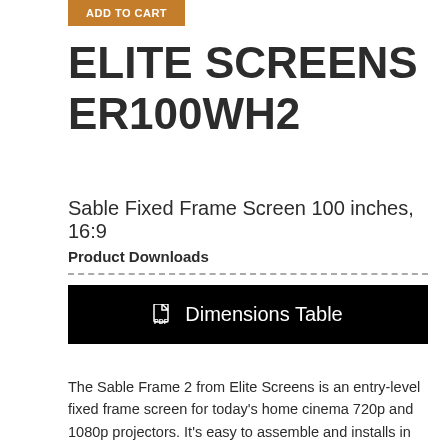[Figure (other): ADD TO CART button in orange/brown color]
ELITE SCREENS ER100WH2
Sable Fixed Frame Screen 100 inches, 16:9
Product Downloads
[Figure (other): Black button with PDF icon and text 'Dimensions Table']
The Sable Frame 2 from Elite Screens is an entry-level fixed frame screen for today's home cinema 720p and 1080p projectors. It's easy to assemble and installs in minutes. The black velvet-surfaced 2.36" aluminum